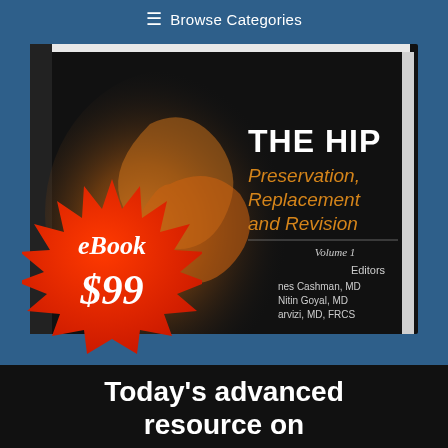≡ Browse Categories
[Figure (illustration): Book cover of 'THE HIP Preservation, Replacement and Revision, Volume 1' edited by Cashman MD, Nitin Goyal MD, Jarvizi MD FRCS. Dark cover with anatomical hip image in orange/gold tones. A red starburst badge overlays the lower-left showing 'eBook $99'.]
Today's advanced resource on hip